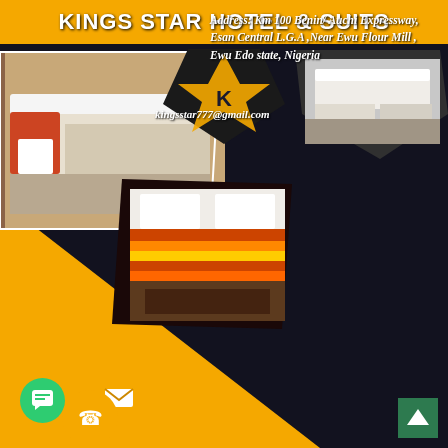KINGS STAR HOTEL & SUITS
[Figure (photo): Hotel room photo collage with three images showing bedroom suites with beds and furnishings, arranged in pentagon/polygon shapes on dark background with orange triangle design element and 'K' star logo]
...Your New Home
For quality accommodation and restaurant services, internet services, tourism development, snooker games, night clubs, travels and tours, more
Address: Km 100 Benin/ Auchi Expressway, Esan Central L.G.A ,Near Ewu Flour Mill , Ewu Edo state, Nigeria
kingsstar777@gmail.com